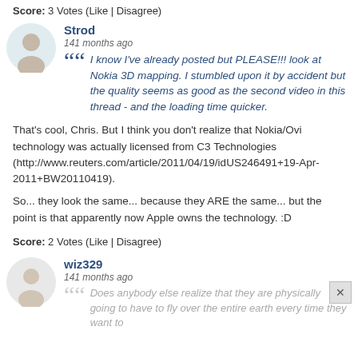Score: 3 Votes (Like | Disagree)
Strod
141 months ago
I know I've already posted but PLEASE!!! look at Nokia 3D mapping. I stumbled upon it by accident but the quality seems as good as the second video in this thread - and the loading time quicker.
That's cool, Chris. But I think you don't realize that Nokia/Ovi technology was actually licensed from C3 Technologies (http://www.reuters.com/article/2011/04/19/idUS246491+19-Apr-2011+BW20110419).
So... they look the same... because they ARE the same... but the point is that apparently now Apple owns the technology. :D
Score: 2 Votes (Like | Disagree)
wiz329
141 months ago
Does anybody else realize that they are physically going to have to fly over the entire earth every time they want to